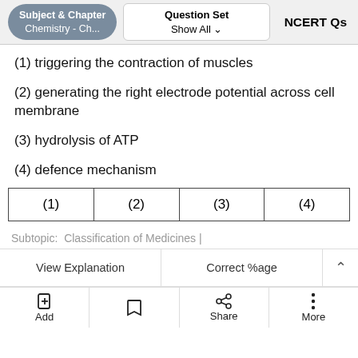Subject & Chapter: Chemistry - Ch...  |  Question Set: Show All  |  NCERT Qs
(1) triggering the contraction of muscles
(2) generating the right electrode potential across cell membrane
(3) hydrolysis of ATP
(4) defence mechanism
| (1) | (2) | (3) | (4) |
| --- | --- | --- | --- |
Subtopic:  Classification of Medicines |
View Explanation  |  Correct %age  |  Add  |  (bookmark)  |  Share  |  More